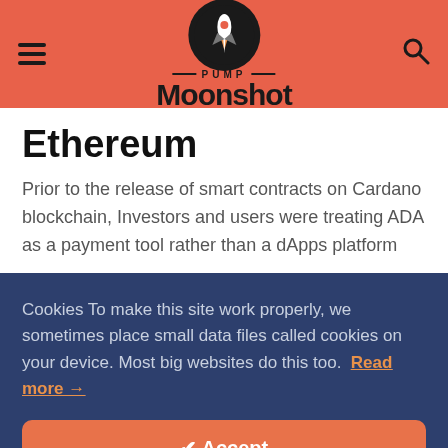Pump Moonshot — site header navigation
Ethereum
Prior to the release of smart contracts on Cardano blockchain, Investors and users were treating ADA as a payment tool rather than a dApps platform
Cookies To make this site work properly, we sometimes place small data files called cookies on your device. Most big websites do this too. Read more →
Accept
Cookies Settings
(tc) €19,925.89 ↑ 0.230% Ethereum (ETH) €1,662.53 ↑ 57